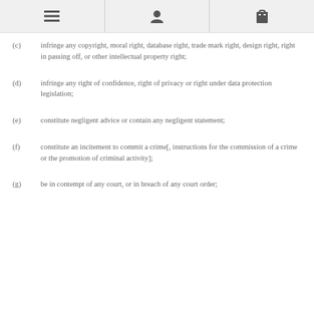[navigation icons: menu, user, cart]
(c)   infringe any copyright, moral right, database right, trade mark right, design right, right in passing off, or other intellectual property right;
(d)   infringe any right of confidence, right of privacy or right under data protection legislation;
(e)   constitute negligent advice or contain any negligent statement;
(f)   constitute an incitement to commit a crime[, instructions for the commission of a crime or the promotion of criminal activity];
(g)   be in contempt of any court, or in breach of any court order;